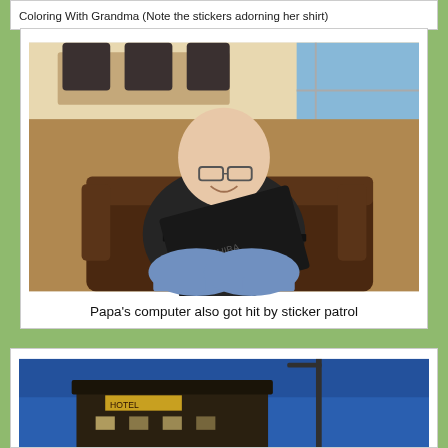Coloring With Grandma (Note the stickers adorning her shirt)
[Figure (photo): An elderly bald man wearing glasses and a dark sweater, sitting in a brown leather armchair, smiling while using a Toshiba laptop. The laptop lid has colorful stickers on it.]
Papa's computer also got hit by sticker patrol
[Figure (photo): A building photographed at dusk or night with a blue sky background, appears to be a hotel or motel with a sign.]